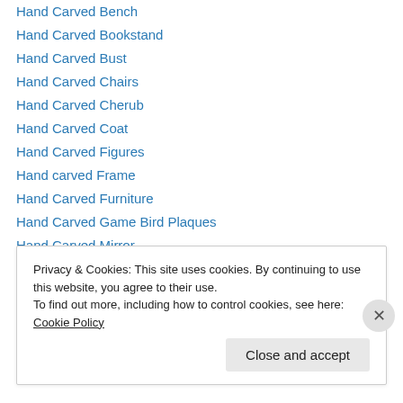Hand Carved Bench
Hand Carved Bookstand
Hand Carved Bust
Hand Carved Chairs
Hand Carved Cherub
Hand Carved Coat
Hand Carved Figures
Hand carved Frame
Hand Carved Furniture
Hand Carved Game Bird Plaques
Hand Carved Mirror
Hand Carved Owl
Hand Carved Partridge
Privacy & Cookies: This site uses cookies. By continuing to use this website, you agree to their use. To find out more, including how to control cookies, see here: Cookie Policy
Close and accept